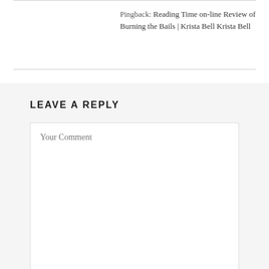Pingback: Reading Time on-line Review of Burning the Bails | Krista Bell Krista Bell
LEAVE A REPLY
Your Comment